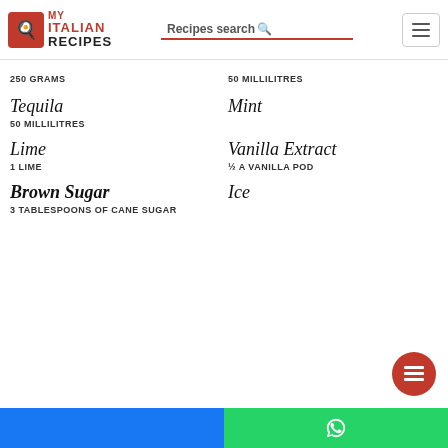MY ITALIAN RECIPES | Recipes search
250 GRAMS
50 MILLILITRES
Tequila
50 MILLILITRES
Mint
Lime
1 LIME
Vanilla Extract
½ A VANILLA POD
Brown Sugar
3 TABLESPOONS OF CANE SUGAR
Ice